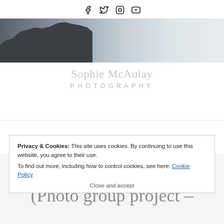Social icons: Facebook, Twitter, Instagram, YouTube
[Figure (photo): Grayscale coastal landscape photo showing dark rocky cliffs on the left against a pale overcast sky and sea horizon]
[Figure (logo): Sophie McAulay Photography script and sans-serif logo in light grey]
Privacy & Cookies: This site uses cookies. By continuing to use this website, you agree to their use. To find out more, including how to control cookies, see here: Cookie Policy
Close and accept
BLOGPOSTS
Abstract photography (Photo group project –